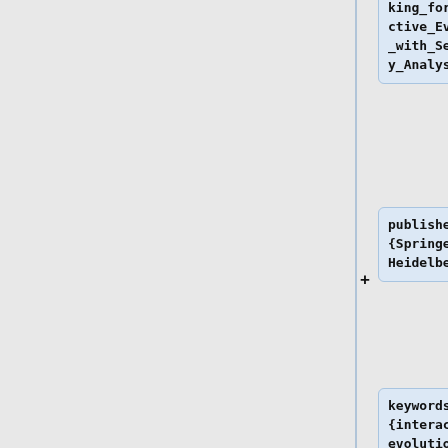king_for_Interactive_Evolution_with_Sensitivity_Analysis },
publisher= {Springer Berlin Heidelberg},
keywords= {interactive evolution; sensitivity analysis; probabilistic genetic operators},
author= {Eisenmann, Jonathan and Lewis, Matthew and Parent, Rick},